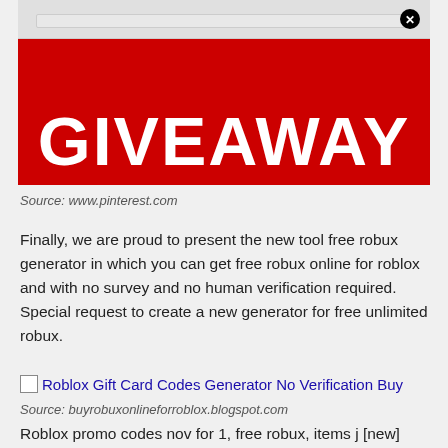[Figure (screenshot): Red Roblox giveaway banner image with large white bold text reading GIVEAWAY on a red background, with a close/dismiss toolbar at the top]
Source: www.pinterest.com
Finally, we are proud to present the new tool free robux generator in which you can get free robux online for roblox and with no survey and no human verification required. Special request to create a new generator for free unlimited robux.
[Figure (screenshot): Broken image placeholder with alt text: Roblox Gift Card Codes Generator No Verification Buy]
Source: buyrobuxonlineforroblox.blogspot.com
Roblox promo codes nov for 1, free robux, items j [new] redecor codes (november ) . u. Robux will be generated